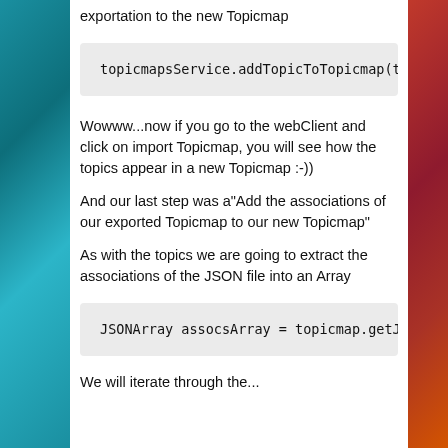exportation to the new Topicmap
[Figure (screenshot): Code block showing: topicmapsService.addTopicToTopicmap(topicmapId, t]
Wowww...now if you go to the webClient and click on import Topicmap, you will see how the topics appear in a new Topicmap :-))
And our last step was a"Add the associations of our exported Topicmap to our new Topicmap"
As with the topics we are going to extract the associations of the JSON file into an Array
[Figure (screenshot): Code block showing: JSONArray assocsArray = topicmap.getJSONArray(']
We will iterate through the...